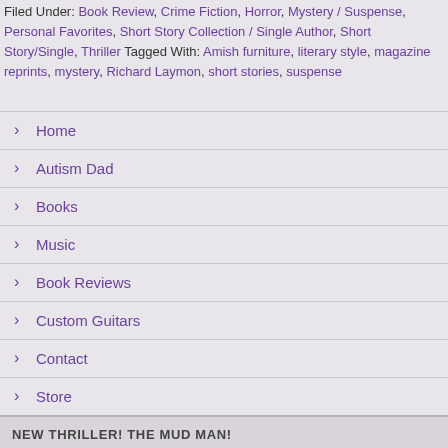Filed Under: Book Review, Crime Fiction, Horror, Mystery / Suspense, Personal Favorites, Short Story Collection / Single Author, Short Story/Single, Thriller Tagged With: Amish furniture, literary style, magazine reprints, mystery, Richard Laymon, short stories, suspense
Home
Autism Dad
Books
Music
Book Reviews
Custom Guitars
Contact
Store
NEW THRILLER! THE MUD MAN!